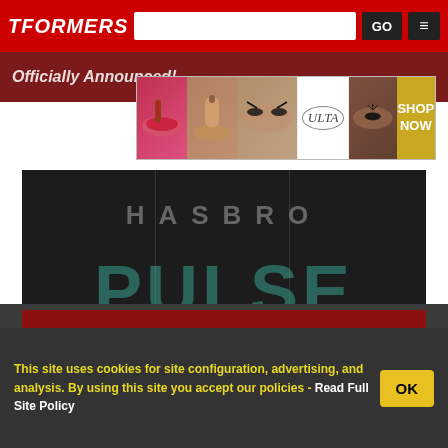TFORMERS
Officially Announced!
[Figure (photo): ULTA Beauty advertisement banner showing makeup imagery and 'SHOP NOW' button]
[Figure (photo): Hasbro Pulse logo on dark background with teal letters]
Hasbro PulseCon 2022 Confirmed
[Figure (photo): Victoria's Secret advertisement with 'SHOP THE COLLECTION' and 'SHOP NOW' button]
SEE MORE CONVENTIONS CU...
This site uses cookies for site configuration, advertising, and analysis. By using this site you accept our policies - Read Full Site Policy
OK